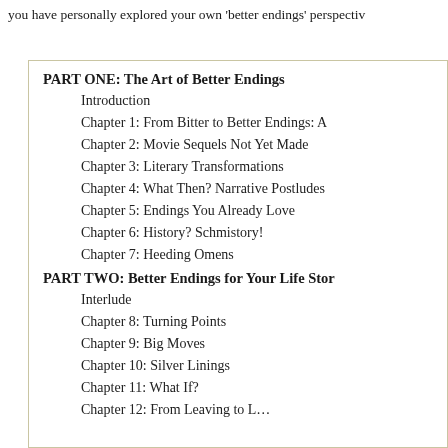you have personally explored your own 'better endings' perspectiv…
PART ONE: The Art of Better Endings
Introduction
Chapter 1: From Bitter to Better Endings: A…
Chapter 2: Movie Sequels Not Yet Made
Chapter 3: Literary Transformations
Chapter 4: What Then? Narrative Postludes…
Chapter 5: Endings You Already Love
Chapter 6: History? Schmistory!
Chapter 7: Heeding Omens
PART TWO: Better Endings for Your Life Stor…
Interlude
Chapter 8: Turning Points
Chapter 9: Big Moves
Chapter 10: Silver Linings
Chapter 11: What If?
Chapter 12: From Leaving to L…